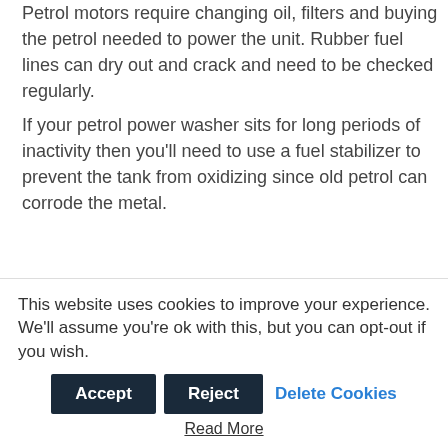Petrol motors require changing oil, filters and buying the petrol needed to power the unit. Rubber fuel lines can dry out and crack and need to be checked regularly.
If your petrol power washer sits for long periods of inactivity then you'll need to use a fuel stabilizer to prevent the tank from oxidizing since old petrol can corrode the metal.
Spark plugs also need to be checked regularly…
This website uses cookies to improve your experience. We'll assume you're ok with this, but you can opt-out if you wish.